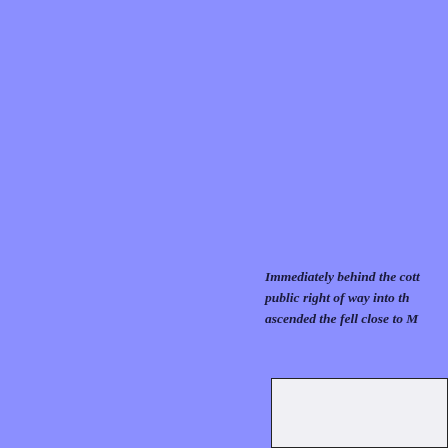Immediately behind the cott public right of way into th ascended the fell close to M
[Figure (other): White/light grey rectangular box with dark border, partially visible at bottom-right corner of page]